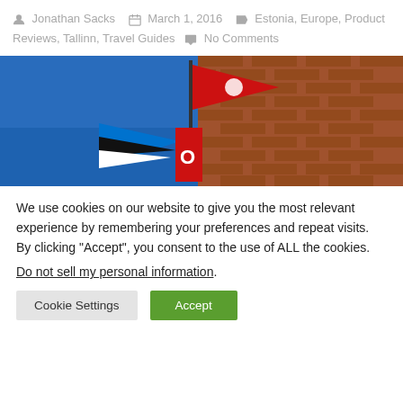Jonathan Sacks   March 1, 2016   Estonia, Europe, Product Reviews, Tallinn, Travel Guides   No Comments
[Figure (photo): Upward angle photo of flags including a red flag with white symbol and the blue-black-white Estonian flag, mounted on a brick building wall against a blue sky.]
We use cookies on our website to give you the most relevant experience by remembering your preferences and repeat visits. By clicking “Accept”, you consent to the use of ALL the cookies.
Do not sell my personal information.